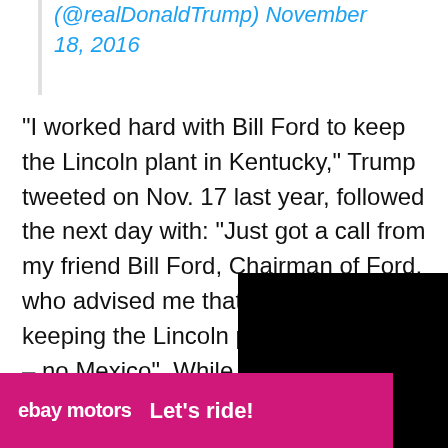(@realDonaldTrump) November 18, 2016
“I worked hard with Bill Ford to keep the Lincoln plant in Kentucky,” Trump tweeted on Nov. 17 last year, followed the next day with: “Just got a call from my friend Bill Ford, Chairman of Ford, who advised me that he will be keeping the Lincoln plant in Kentucky – no Mexico”. While it’s true that, according to company Christin Baker, Ford wa
[Figure (screenshot): eBay Motors advertisement banner at bottom of page reading 'ebay motors Let's ride!']